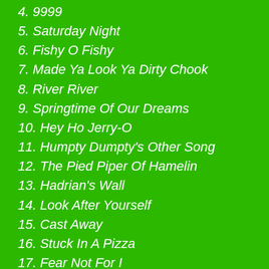4. 9999
5. Saturday Night
6. Fishy O Fishy
7. Made Ya Look Ya Dirty Chook
8. River River
9. Springtime Of Our Dreams
10. Hey Ho Jerry-O
11. Humpty Dumpty's Other Song
12. The Pied Piper Of Hamelin
13. Hadrian's Wall
14. Look After Yourself
15. Cast Away
16. Stuck In A Pizza
17. Fear Not For I
18. Reprise
CD3: Spook
1. Mr Spook
2. Video
3. Koala Ko